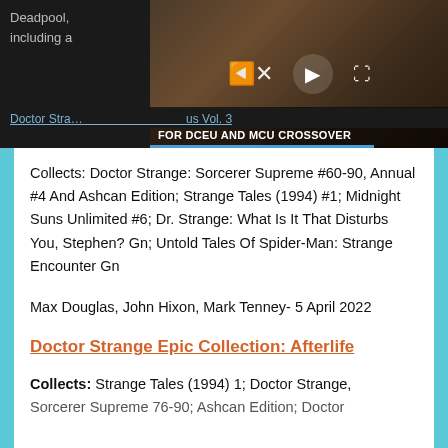Deadpool, ... others including a...
[Figure (screenshot): Video player overlay showing a man (Dwayne Johnson) in a dark urban setting with video controls and caption text: DWAYNE JOHNSON EXPRESSED HOPE FOR DCEU AND MCU CROSSOVER]
Doctor Stra... us Vol. 3
Collects: Doctor Strange: Sorcerer Supreme #60-90, Annual #4 And Ashcan Edition; Strange Tales (1994) #1; Midnight Suns Unlimited #6; Dr. Strange: What Is It That Disturbs You, Stephen? Gn; Untold Tales Of Spider-Man: Strange Encounter Gn
Max Douglas, John Hixon, Mark Tenney- 5 April 2022
Doctor Strange Epic Collection: Afterlife
Collects: Strange Tales (1994) 1; Doctor Strange, Sorcerer Supreme 76-90; Ashcan Edition; Doctor...